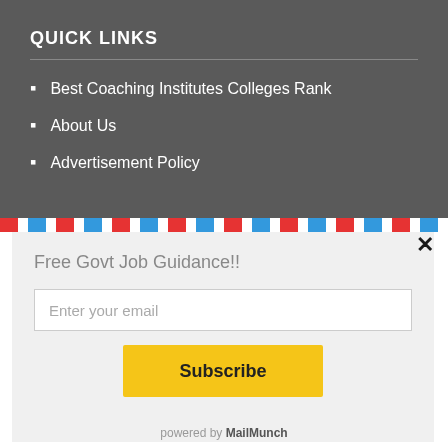QUICK LINKS
Best Coaching Institutes Colleges Rank
About Us
Advertisement Policy
Free Govt Job Guidance!!
Enter your email
Subscribe
powered by MailMunch